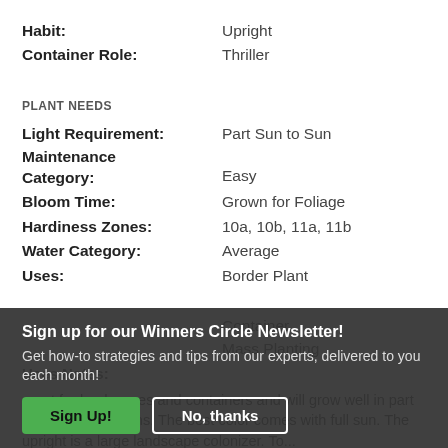Habit: Upright
Container Role: Thriller
PLANT NEEDS
Light Requirement: Part Sun to Sun
Maintenance Category: Easy
Bloom Time: Grown for Foliage
Hardiness Zones: 10a, 10b, 11a, 11b
Water Category: Average
Uses: Border Plant
Container
Mass Planting
Uses Notes:
Sign up for our Winners Circle Newsletter! Get how-to strategies and tips from our experts, delivered to you each month!
great for landscapes and containers and will grow well in part sun to sun locations. The best color comes with full sun. The upright is a large landscape colonizer. To...